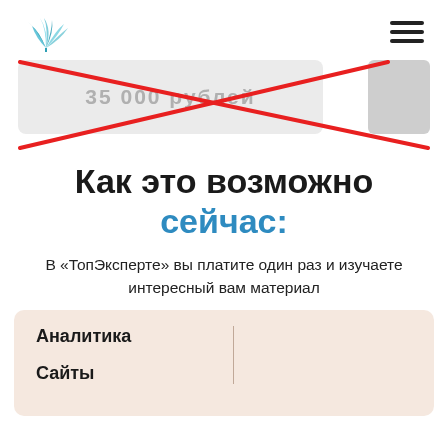[Figure (screenshot): Website header with a blue leaf/plant logo on the left and a hamburger menu icon on the right, followed by a crossed-out price box (showing partially visible text '35 000 рублей') with two red diagonal lines through it.]
Как это возможно сейчас:
В «ТопЭксперте» вы платите один раз и изучаете интересный вам материал
Аналитика
Сайты